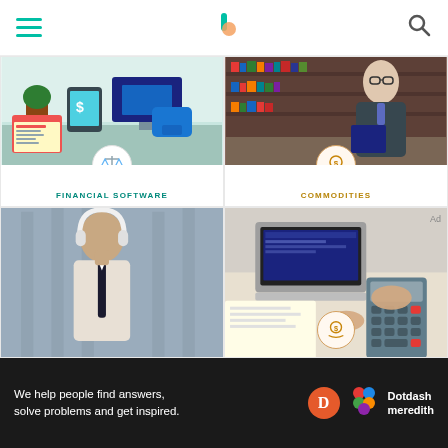Investopedia navigation header with hamburger menu, logo, and search icon
[Figure (illustration): Financial software illustration with desk, laptop, tablet, plant, and balance scale icon overlay]
FINANCIAL SOFTWARE
The 7 Best Personal Finance Apps of 2022
[Figure (photo): Man in glasses reading a book in a library, with coin/hand icon overlay]
COMMODITIES
The 8 Best Commodity Trading Books of 2022
[Figure (photo): Man wearing headphones in a business setting]
[Figure (photo): Person using calculator and laptop at desk with coin/hand icon overlay]
We help people find answers, solve problems and get inspired. Dotdash meredith